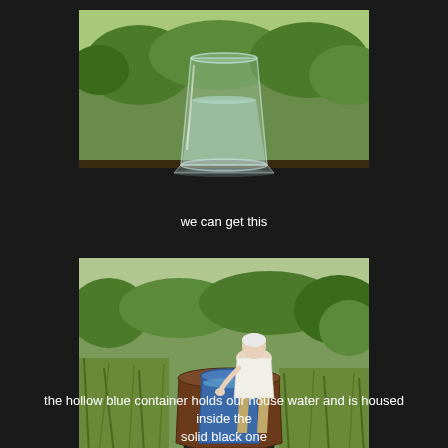[Figure (photo): A glass of water sitting on a surface outdoors with green trees/shrubs in the background]
we can get this
[Figure (photo): An elderly person bending over a large blue container/barrel surrounded by tall grass and shrubs outdoors, with a solid black container around it]
the hollow blue container holds our house water and is housed inside the solid black one